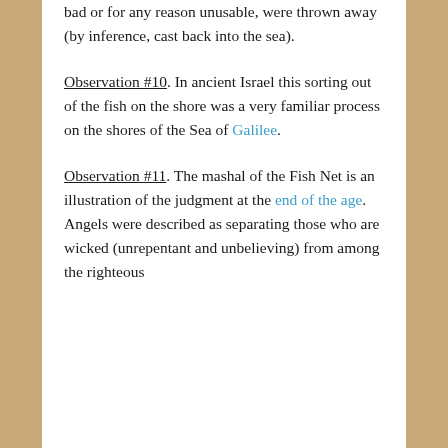bad or for any reason unusable, were thrown away (by inference, cast back into the sea).
Observation #10.  In ancient Israel this sorting out of the fish on the shore was a very familiar process on the shores of the Sea of Galilee.
Observation #11.  The mashal of the Fish Net is an illustration of the judgment at the end of the age. Angels were described as separating those who are wicked (unrepentant and unbelieving) from among the righteous